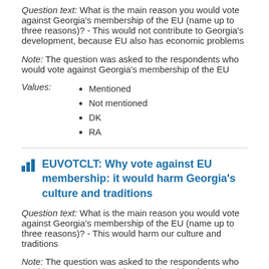Question text: What is the main reason you would vote against Georgia's membership of the EU (name up to three reasons)? - This would not contribute to Georgia's development, because EU also has economic problems
Note: The question was asked to the respondents who would vote against Georgia's membership of the EU
Values:
Mentioned
Not mentioned
DK
RA
EUVOTCLT: Why vote against EU membership: it would harm Georgia's culture and traditions
Question text: What is the main reason you would vote against Georgia's membership of the EU (name up to three reasons)? - This would harm our culture and traditions
Note: The question was asked to the respondents who would vote against Georgia's membership of the EU
Values:
Mentioned